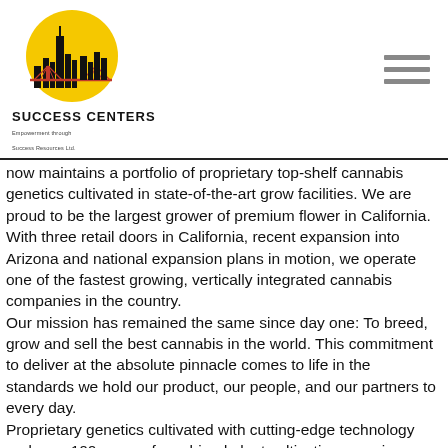SUCCESS CENTERS — Empowerment through Success Resources Ltd.
now maintains a portfolio of proprietary top-shelf cannabis genetics cultivated in state-of-the-art grow facilities. We are proud to be the largest grower of premium flower in California.
With three retail doors in California, recent expansion into Arizona and national expansion plans in motion, we operate one of the fastest growing, vertically integrated cannabis companies in the country.
Our mission has remained the same since day one: To breed, grow and sell the best cannabis in the world. This commitment to deliver at the absolute pinnacle comes to life in the standards we hold our product, our people, and our partners to every day.
Proprietary genetics cultivated with cutting-edge technology and over 100 years of combined plant cultivation experience has earned our flower the highest wholesale price in any major legal market. Our continued curiosity can be traced back to an early obsession with R&D that poured resources into what is now one of the